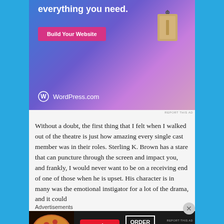[Figure (screenshot): WordPress.com advertisement banner with gradient blue-purple background, 'Build Your Website' pink button, a price tag graphic, and WordPress logo at bottom left]
REPORT THIS AD
Without a doubt, the first thing that I felt when I walked out of the theatre is just how amazing every single cast member was in their roles. Sterling K. Brown has a stare that can puncture through the screen and impact you, and frankly, I would never want to be on a receiving end of one of those when he is upset. His character is in many was the emotional instigator for a lot of the drama, and it could
Advertisements
[Figure (screenshot): Seamless food delivery advertisement with pizza image on left, red seamless logo badge, and ORDER NOW button in white border box on dark background]
REPORT THIS AD